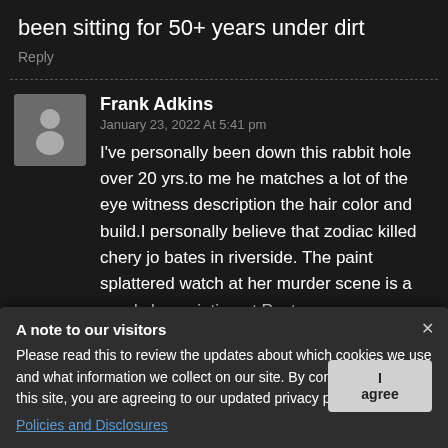been sitting for 50+ years under dirt
Reply
Frank Adkins
January 23, 2022 At 5:41 pm
I've personally been down this rabbit hole over 20 yrs.to me he matches a lot of the eye witness description the hair color and build.I personally believe that zodiac killed chery jo bates in riverside. The paint splattered watch at her murder scene is a good clue pointing at Poste.
A note to our visitors Please read this to review the updates about which cookies we use and what information we collect on our site. By continuing to use this site, you are agreeing to our updated privacy policy.
Policies and Disclosures